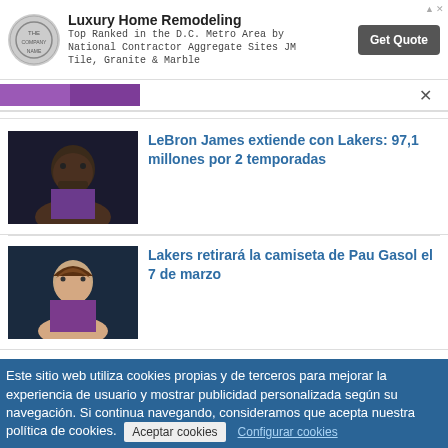[Figure (infographic): Advertisement banner for Luxury Home Remodeling with circular logo, text description, and Get Quote button]
[Figure (screenshot): Search bar area with purple tab segments and close X button]
[Figure (photo): Photo of LeBron James, basketball player]
LeBron James extiende con Lakers: 97,1 millones por 2 temporadas
[Figure (photo): Photo of Pau Gasol, basketball player]
Lakers retirará la camiseta de Pau Gasol el 7 de marzo
Este sitio web utiliza cookies propias y de terceros para mejorar la experiencia de usuario y mostrar publicidad personalizada según su navegación. Si continua navegando, consideramos que acepta nuestra política de cookies. Aceptar cookies  Configurar cookies